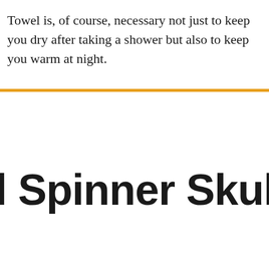Towel is, of course, necessary not just to keep you dry after taking a shower but also to keep you warm at night.
l Spinner Skull 11